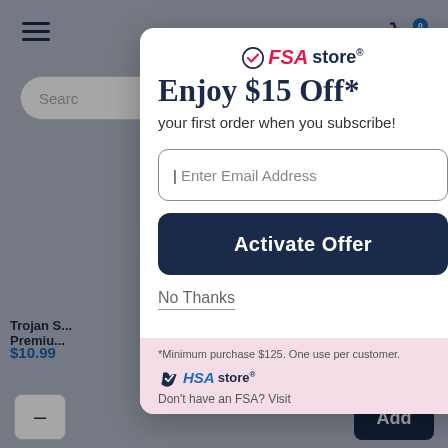[Figure (screenshot): FSA Store website screenshot showing a modal popup with a $15 off offer for subscribing, email input field, Activate Offer button, No Thanks link, and HSA Store footer. Background shows a blurred shopping page with Trojan product and $10.99 price.]